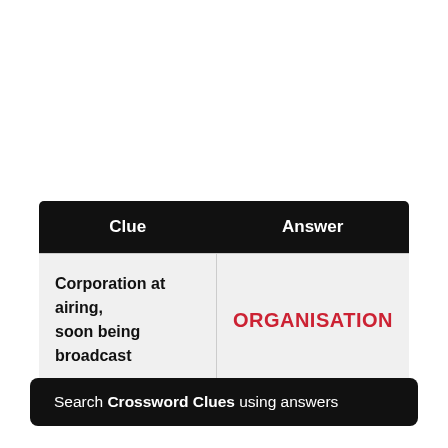| Clue | Answer |
| --- | --- |
| Corporation at airing, soon being broadcast | ORGANISATION |
Search Crossword Clues using answers